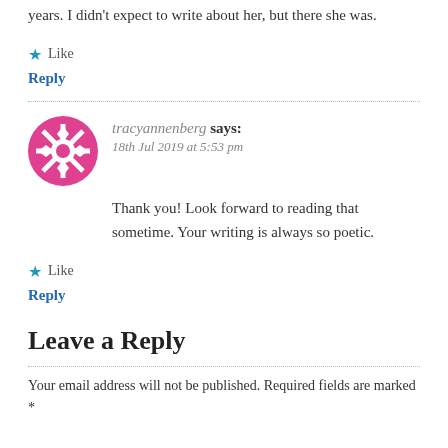years. I didn't expect to write about her, but there she was.
★ Like
Reply
tracyannenberg says: 18th Jul 2019 at 5:53 pm
Thank you! Look forward to reading that sometime. Your writing is always so poetic.
★ Like
Reply
Leave a Reply
Your email address will not be published. Required fields are marked *